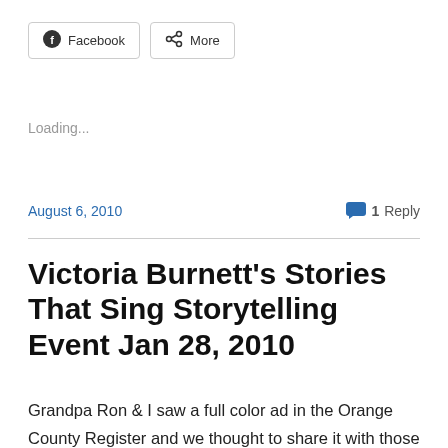Facebook  More
Loading...
August 6, 2010    1 Reply
Victoria Burnett's Stories That Sing Storytelling Event Jan 28, 2010
Grandpa Ron & I saw a full color ad in the Orange County Register and we thought to share it with those of you in the San Juan Capistrano vicinity. If you are available on Thursday, January 28, there is an event called "Stories